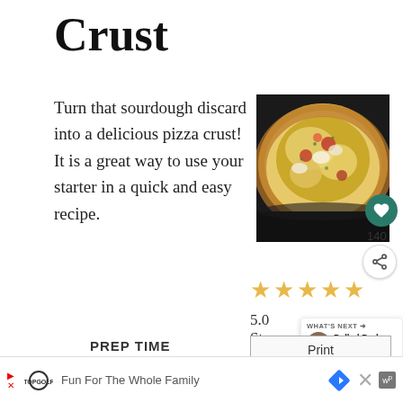Crust
Turn that sourdough discard into a delicious pizza crust! It is a great way to use your starter in a quick and easy recipe.
[Figure (photo): Close-up photo of a baked pizza with melted cheese, red toppings, and thick sourdough crust on a dark pan]
140
[Figure (other): Five gold stars rating display]
5.0 Stars (6 R...
[Figure (other): What's Next panel showing Pulled Pork Enchilada...]
PREP TIME
Print
✓ Dine-In  ✗ Delivery
[Figure (other): Advertisement bar: TopGolf logo, Fun For The Whole Family, navigation icon, close button, WP badge]